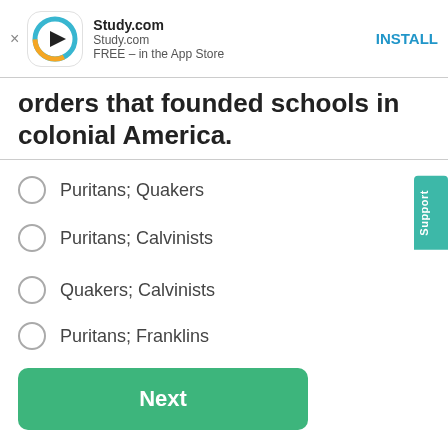[Figure (screenshot): Study.com app install banner with logo, app name, and INSTALL button]
orders that founded schools in colonial America.
Puritans; Quakers
Puritans; Calvinists
Quakers; Calvinists
Puritans; Franklins
Next